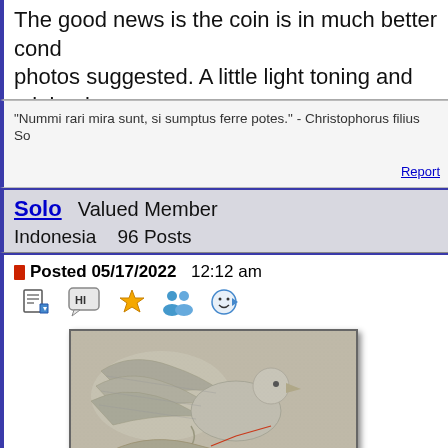The good news is the coin is in much better cond photos suggested. A little light toning and minimal
"Nummi rari mira sunt, si sumptus ferre potes." - Christophorus filius So
Report
Solo   Valued Member
Indonesia   96 Posts
Posted 05/17/2022  12:12 am
[Figure (photo): Close-up macro photograph of a coin showing detailed relief of a bird (eagle) with wings and foliage, with a faint red arrow annotation pointing to a specific area of the coin's surface. The coin appears silver/grey with light toning.]